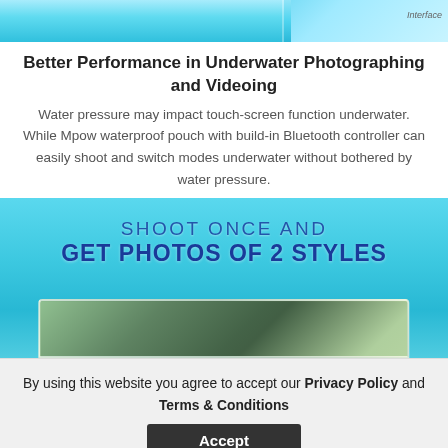[Figure (photo): Top portion of an underwater photo showing blue water surface with partial text 'Interface' visible on the right side]
Better Performance in Underwater Photographing and Videoing
Water pressure may impact touch-screen function underwater. While Mpow waterproof pouch with build-in Bluetooth controller can easily shoot and switch modes underwater without bothered by water pressure.
[Figure (photo): Promotional image with aqua/teal water background showing text 'SHOOT ONCE AND GET PHOTOS OF 2 STYLES' with an underwater coral photo inset at the bottom]
By using this website you agree to accept our Privacy Policy and Terms & Conditions
Accept